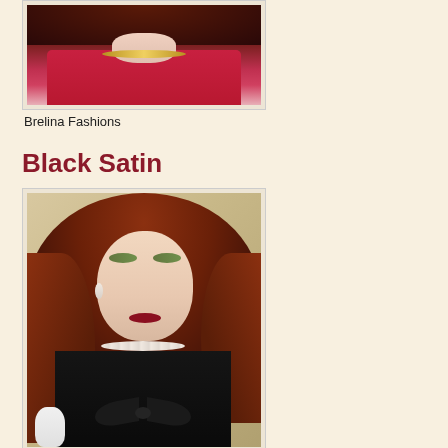[Figure (photo): Close-up photo of a fashion doll wearing a red knit top with gold necklace and long curly dark brown/auburn hair, shown from chest up against a light background.]
Brelina Fashions
Black Satin
[Figure (photo): Photo of a fashion doll with voluminous auburn/red wavy hair, wearing a strapless black satin gown with a large bow detail at the waist, pearl necklace and earrings, with colorful eye makeup, posed against a light floral/garden background.]